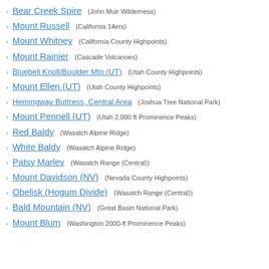Bear Creek Spire (John Muir Wilderness)
Mount Russell (California 14ers)
Mount Whitney (California County Highpoints)
Mount Rainier (Cascade Volcanoes)
Bluebell Knoll/Boulder Mtn (UT) (Utah County Highpoints)
Mount Ellen (UT) (Utah County Highpoints)
Hemingway Buttress, Central Area (Joshua Tree National Park)
Mount Pennell (UT) (Utah 2,000 ft Prominence Peaks)
Red Baldy (Wasatch Alpine Ridge)
White Baldy (Wasatch Alpine Ridge)
Patsy Marley (Wasatch Range (Central))
Mount Davidson (NV) (Nevada County Highpoints)
Obelisk (Hogum Divide) (Wasatch Range (Central))
Bald Mountain (NV) (Great Basin National Park)
Mount Blum (Washington 2000-ft Prominence Peaks)